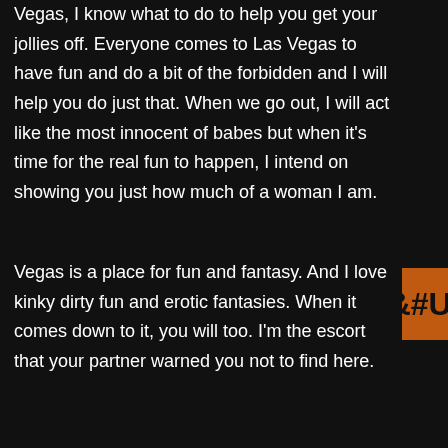Vegas, I know what to do to help you get your jollies off. Everyone comes to Las Vegas to have fun and do a bit of the forbidden and I will help you do just that. When we go out, I will act like the most innocent of babes but when it's time for the real fun to happen, I intend on showing you just how much of a woman I am.
Vegas is a place for fun and fantasy. And I love kinky dirty fun and erotic fantasies. When it comes down to it, you will too. I'm the escort that your partner warned you not to find here.